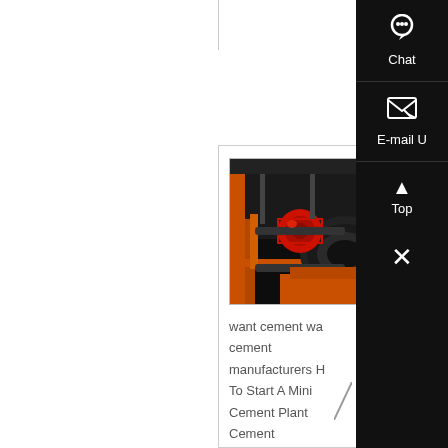more
[Figure (photo): Industrial machinery - cement plant motors and conveyor equipment, orange/black industrial setting]
want cement want cement manufacturers How To Start A Mini Cement Plant Cement Manufacturing Unit
want cement want cement manufacturers How To Start A Mini Cement Plant Cement Manufacturing Unit Cement is indispensible for building and construction work and cement indu...